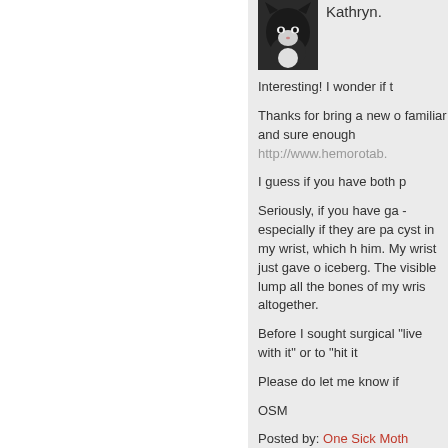[Figure (photo): Avatar photo of a black and white cat]
Kathryn.
Interesting! I wonder if t
Thanks for bring a new o familiar and sure enough http://www.hemorotab.
I guess if you have both p
Seriously, if you have ga -especially if they are pa cyst in my wrist, which h him. My wrist just gave o iceberg. The visible lump all the bones of my wris altogether.
Before I sought surgical "live with it" or to "hit it
Please do let me know if
OSM
Posted by: One Sick Moth